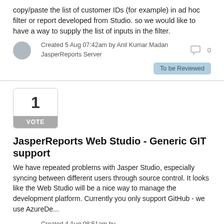copy/paste the list of customer IDs (for example) in ad hoc filter or report developed from Studio. so we would like to have a way to supply the list of inputs in the filter.
Created 5 Aug 07:42am by Anil Kumar Madan
JasperReports Server
To be Reviewed
0
[Figure (other): Vote box showing 1 vote]
JasperReports Web Studio - Generic GIT support
We have repeated problems with Jasper Studio, especially syncing between different users through source control. It looks like the Web Studio will be a nice way to manage the development platform. Currently you only support GitHub - we use AzureDe...
Created 4 Aug 08:51am by Guest
Jaspersoft Studio
To be Reviewed
0
[Figure (other): Vote box showing 1 vote (partially visible)]